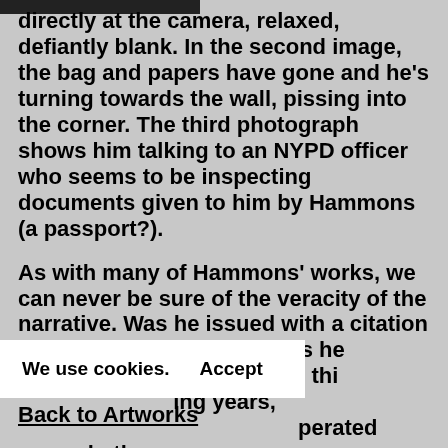directly at the camera, relaxed, defiantly blank. In the second image, the bag and papers have gone and he’s turning towards the wall, pissing into the corner. The third photograph shows him talking to an NYPD officer who seems to be inspecting documents given to him by Hammons (a passport?).
As with many of Hammons’ works, we can never be sure of the veracity of the narrative. Was he issued with a citation from the police officer? Was he arrested? Or was the whole thing staged? In the …ing years, … …operated over whether
We use cookies.    Accept
Back to Artworks